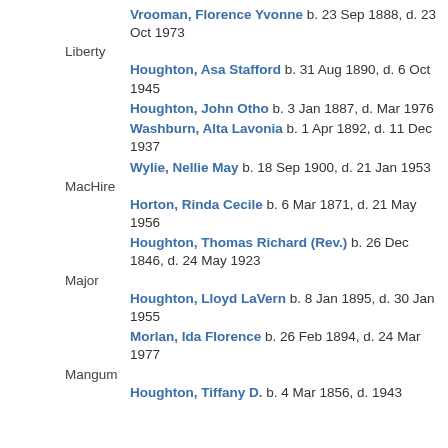Vrooman, Florence Yvonne  b. 23 Sep 1888, d. 23 Oct 1973
Liberty
Houghton, Asa Stafford  b. 31 Aug 1890, d. 6 Oct 1945
Houghton, John Otho  b. 3 Jan 1887, d. Mar 1976
Washburn, Alta Lavonia  b. 1 Apr 1892, d. 11 Dec 1937
Wylie, Nellie May  b. 18 Sep 1900, d. 21 Jan 1953
MacHire
Horton, Rinda Cecile  b. 6 Mar 1871, d. 21 May 1956
Houghton, Thomas Richard (Rev.)  b. 26 Dec 1846, d. 24 May 1923
Major
Houghton, Lloyd LaVern  b. 8 Jan 1895, d. 30 Jan 1955
Morlan, Ida Florence  b. 26 Feb 1894, d. 24 Mar 1977
Mangum
Houghton, Tiffany D.  b. 4 Mar 1856, d. 1943